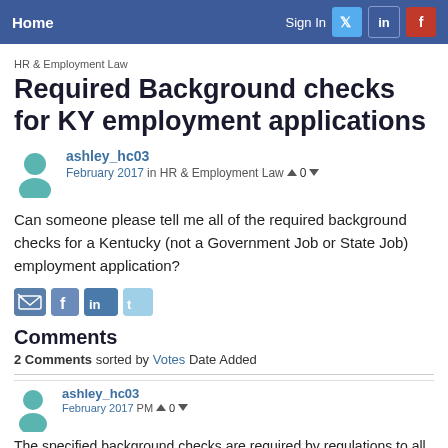Home | Sign In | Twitter | LinkedIn | Facebook
HR & Employment Law
Required Background checks for KY employment applications
ashley_hc03
February 2017 in HR & Employment Law ▲ 0 ▼
Can someone please tell me all of the required background checks for a Kentucky (not a Government Job or State Job) employment application?
[Figure (other): Share icons: email, Facebook, LinkedIn, Twitter]
Comments
2 Comments sorted by Votes Date Added
ashley_hc03
February 2017 PM▲ 0 ▼
The specified background checks are required by regulations to all the...